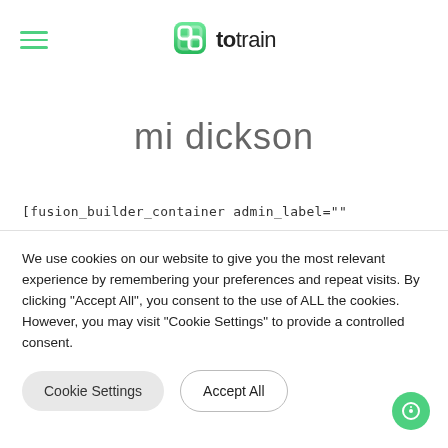[Figure (logo): totrain logo with green icon and text 'totrain']
mi dickson
[fusion_builder_container admin_label=""
We use cookies on our website to give you the most relevant experience by remembering your preferences and repeat visits. By clicking “Accept All”, you consent to the use of ALL the cookies. However, you may visit "Cookie Settings" to provide a controlled consent.